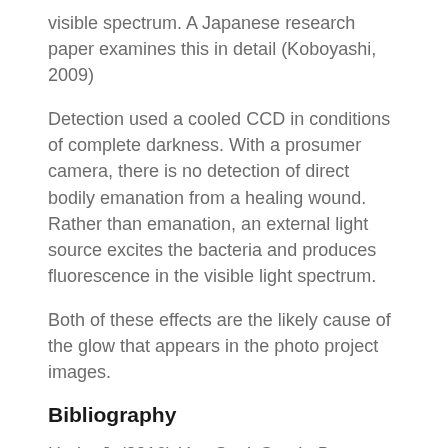visible spectrum. A Japanese research paper examines this in detail (Koboyashi, 2009)
Detection used a cooled CCD in conditions of complete darkness. With a prosumer camera, there is no detection of direct bodily emanation from a healing wound. Rather than emanation, an external light source excites the bacteria and produces fluorescence in the visible light spectrum.
Both of these effects are the likely cause of the glow that appears in the photo project images.
Bibliography
Hrala, J. (2016) You Can't See It, But Humans Actually Glow With Our Own Form of Bioluminescence, science alert. Available at: https://www.sciencealert.com/you